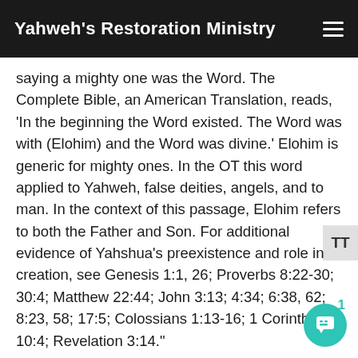Yahweh's Restoration Ministry
saying a mighty one was the Word. The Complete Bible, an American Translation, reads, 'In the beginning the Word existed. The Word was with (Elohim) and the Word was divine.' Elohim is generic for mighty ones. In the OT this word applied to Yahweh, false deities, angels, and to man. In the context of this passage, Elohim refers to both the Father and Son. For additional evidence of Yahshua's preexistence and role in creation, see Genesis 1:1, 26; Proverbs 8:22-30; 30:4; Matthew 22:44; John 3:13; 4:34; 6:38, 62; 8:23, 58; 17:5; Colossians 1:13-16; 1 Corinthians 10:4; Revelation 3:14."
Psalm 82:6 is a condemnation of those who held positions of power or authority. From the context,